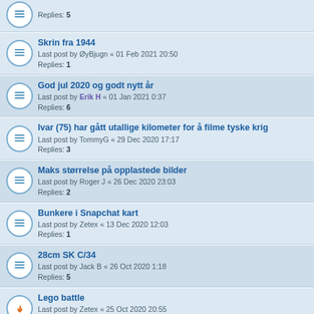Replies: 5
Skrin fra 1944
Last post by ØyBjugn « 01 Feb 2021 20:50
Replies: 1
God jul 2020 og godt nytt år
Last post by Erik H « 01 Jan 2021 0:37
Replies: 6
Ivar (75) har gått utallige kilometer for å filme tyske krig
Last post by TommyG « 29 Dec 2020 17:17
Replies: 3
Maks størrelse på opplastede bilder
Last post by Roger J « 26 Dec 2020 23:03
Replies: 2
Bunkere i Snapchat kart
Last post by Zetex « 13 Dec 2020 12:03
Replies: 1
28cm SK C/34
Last post by Jack B « 26 Oct 2020 1:18
Replies: 5
Lego battle
Last post by Zetex « 25 Oct 2020 20:55
Replies: 11
Maleri fra 1943. Malt av tysker i norge
Last post by Composite « 13 Oct 2020 16:59
Klipp fra aviser før, under og etter krigen
Last post by Yngvar « 12 Oct 2020 17:24
Replies: 4